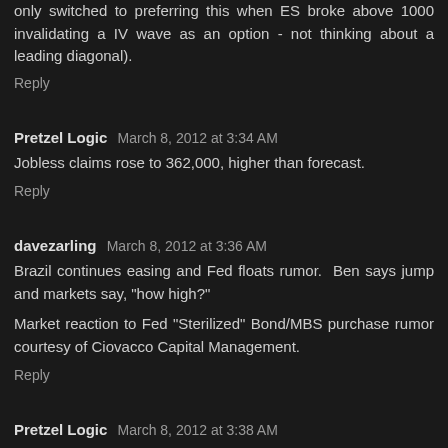only switched to preferring this when ES broke above 1000 invalidating a IV wave as an option - not thinking about a leading diagonal).
Reply
Pretzel Logic  March 8, 2012 at 3:34 AM
Jobless claims rose to 362,000, higher than forecast.
Reply
davezarling  March 8, 2012 at 3:36 AM
Brazil continues easing and Fed floats rumor.  Ben says jump and markets say, "how high?"
Market reaction to Fed "Sterilized" Bond/MBS purchase rumor courtesy of Ciovacco Capital Management.
Reply
Pretzel Logic  March 8, 2012 at 3:38 AM